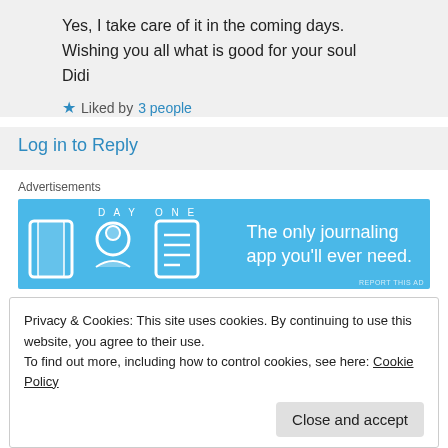Yes, I take care of it in the coming days.
Wishing you all what is good for your soul
Didi
★ Liked by 3 people
Log in to Reply
Advertisements
[Figure (other): Day One journaling app advertisement banner. Blue background with app icons and text: DAY ONE - The only journaling app you'll ever need.]
Privacy & Cookies: This site uses cookies. By continuing to use this website, you agree to their use.
To find out more, including how to control cookies, see here: Cookie Policy
Close and accept
★ Liked by 6 people